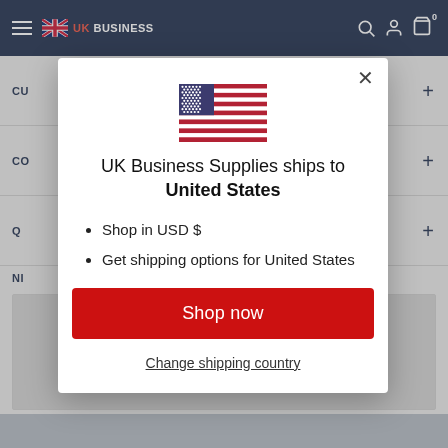UK BUSINESS
[Figure (screenshot): Screenshot of UK Business Supplies website with a modal popup dialog showing a US flag and shipping options for United States]
UK Business Supplies ships to United States
Shop in USD $
Get shipping options for United States
Shop now
Change shipping country